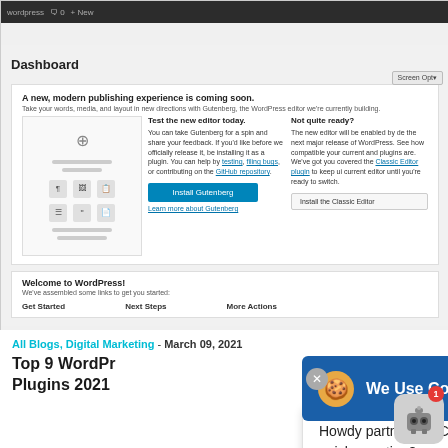[Figure (screenshot): WordPress Dashboard screenshot showing the Gutenberg editor announcement, with columns for 'Test the new editor today', 'Not quite ready?', and 'Welcome to WordPress!' section]
All Blogs, Digital Marketing - March 09, 2021
Top 9 WordPress Plugins 2021
[Figure (screenshot): Cookie consent popup overlay with blue background showing 'We Use Cookies.' text and an OK button, plus a chat bot popup saying 'Howdy partner! Can I ask you a quick question?']